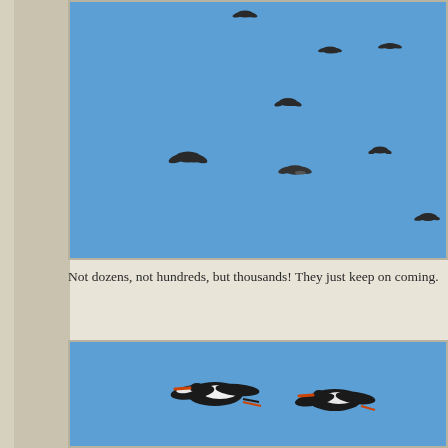[Figure (photo): Photograph of many storks or large birds in flight against a clear blue sky. Multiple birds visible at various distances, appearing as dark silhouettes scattered across the frame.]
Not dozens, not hundreds, but thousands! They just keep on coming.
[Figure (photo): Photograph of two large white storks in flight against a clear blue sky, shown at closer range with more detail visible including white and black wing feathers.]